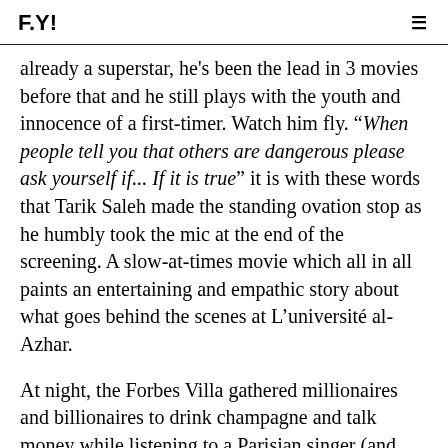F.Y!
already a superstar, he's been the lead in 3 movies before that and he still plays with the youth and innocence of a first-timer. Watch him fly. “When people tell you that others are dangerous please ask yourself if... If it is true” it is with these words that Tarik Saleh made the standing ovation stop as he humbly took the mic at the end of the screening. A slow-at-times movie which all in all paints an entertaining and empathic story about what goes behind the scenes at L’université al-Azhar.
At night, the Forbes Villa gathered millionaires and billionaires to drink champagne and talk money while listening to a Parisian singer (and NFT aficionado) sing about how money is not important. You could hear the Ferraris parked in